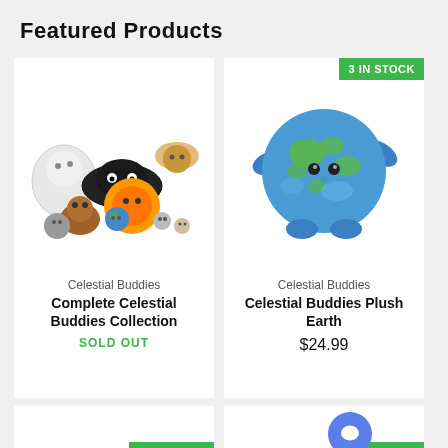Featured Products
[Figure (photo): Group of Celestial Buddies plush toys - various planet and space character plush toys grouped together]
Celestial Buddies
Complete Celestial Buddies Collection
SOLD OUT
[Figure (photo): Celestial Buddies Plush Earth - blue and green Earth plush toy with arms and legs]
3 IN STOCK
Celestial Buddies
Celestial Buddies Plush Earth
$24.99
4 IN STOCK
7 IN STOCK